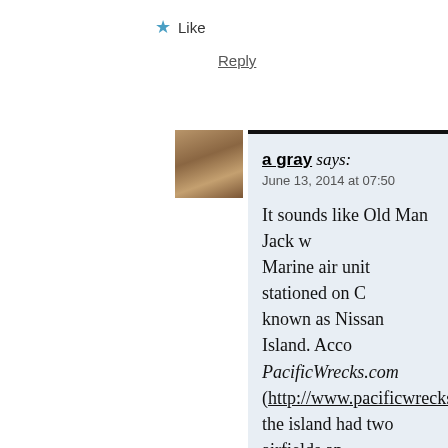★ Like
Reply
[Figure (photo): Avatar photo of a gray-haired man in a suit]
a gray says:
June 13, 2014 at 07:50
It sounds like Old Man Jack w Marine air unit stationed on C known as Nissan Island. Acco PacificWrecks.com (http://www.pacificwrecks.co the island had two airfields an were probably far more advan Island, a forward airfield used squadrons. According to Pac (http://www.pacificwrecks.co
From May 22 – June 1